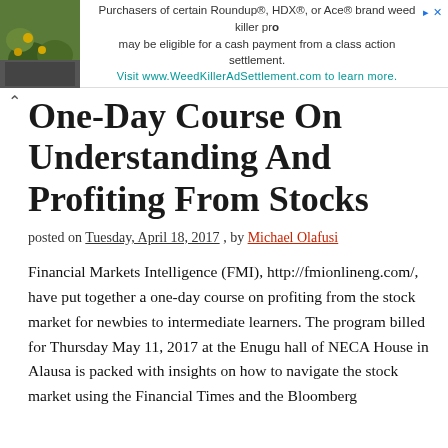[Figure (other): Advertisement banner with flower/plant photo on left and text about Roundup weed killer class action settlement]
One-Day Course On Understanding And Profiting From Stocks
posted on Tuesday, April 18, 2017 , by Michael Olafusi
Financial Markets Intelligence (FMI), http://fmionlineng.com/, have put together a one-day course on profiting from the stock market for newbies to intermediate learners. The program billed for Thursday May 11, 2017 at the Enugu hall of NECA House in Alausa is packed with insights on how to navigate the stock market using the Financial Times and the Bloomberg